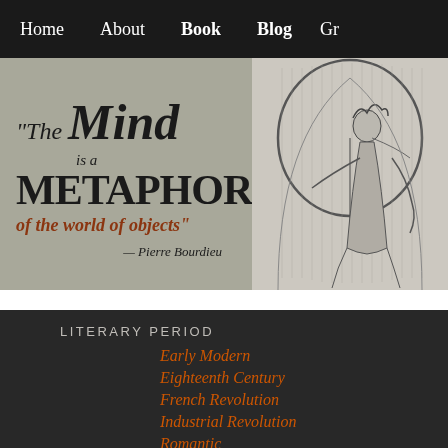Home   About   Book   Blog   Gr
[Figure (illustration): Left panel: grey background with quote text: 'The Mind is a METAPHOR of the world of objects' — Pierre Bourdieu. Right panel: black and white engraving of a classical figure.]
LITERARY PERIOD
Early Modern
Eighteenth Century
French Revolution
Industrial Revolution
Romantic
Age of Sensibility
Nineteenth Century